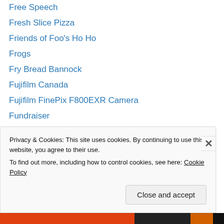Free Speech
Fresh Slice Pizza
Friends of Foo's Ho Ho
Frogs
Fry Bread Bannock
Fujifilm Canada
Fujifilm FinePix F800EXR Camera
Fundraiser
Gabor Mate
Gallery Gachet
Gaming
Garden
Garvin Snider
Gary Lee
Privacy & Cookies: This site uses cookies. By continuing to use this website, you agree to their use. To find out more, including how to control cookies, see here: Cookie Policy
Close and accept